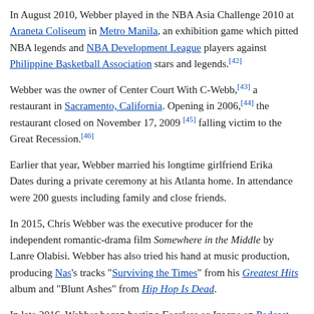In August 2010, Webber played in the NBA Asia Challenge 2010 at Araneta Coliseum in Metro Manila, an exhibition game which pitted NBA legends and NBA Development League players against Philippine Basketball Association stars and legends.[42]
Webber was the owner of Center Court With C-Webb,[43] a restaurant in Sacramento, California. Opening in 2006,[44] the restaurant closed on November 17, 2009 [45] falling victim to the Great Recession.[46]
Earlier that year, Webber married his longtime girlfriend Erika Dates during a private ceremony at his Atlanta home. In attendance were 200 guests including family and close friends.
In 2015, Chris Webber was the executive producer for the independent romantic-drama film Somewhere in the Middle by Lanre Olabisi. Webber has also tried his hand at music production, producing Nas's tracks "Surviving the Times" from his Greatest Hits album and "Blunt Ashes" from Hip Hop Is Dead.
In late 2016, Webber began hosting Fearless or Insane on Podcast One.[47] In 2018, with old age makeup, he played the role of Preacher in the film Uncle Drew, which starred Kyrie Irving.